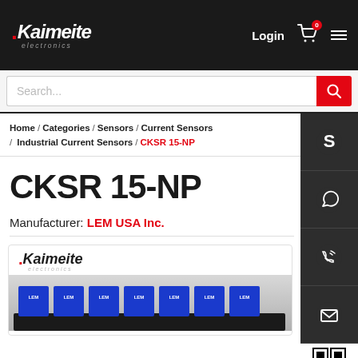Kaimeite electronics — Login, Cart, Menu
Search...
Home / Categories / Sensors / Current Sensors / Industrial Current Sensors / CKSR 15-NP
CKSR 15-NP
Manufacturer: LEM USA Inc.
[Figure (photo): Product photo showing a row of blue LEM current sensors mounted on a dark base, with Kaimeite electronics logo above]